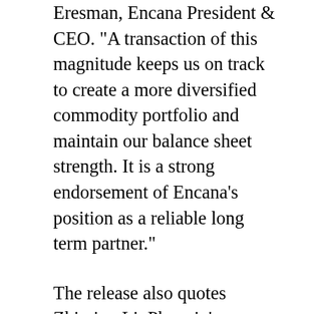Eresman, Encana President & CEO. "A transaction of this magnitude keeps us on track to create a more diversified commodity portfolio and maintain our balance sheet strength. It is a strong endorsement of Encana’s position as a reliable long term partner."
The release also quotes Zhiming Li, Phoenix’s President & Chief Executive Officer, as saying The Duvernay project will combine Phoenix’s integrated upstream and downstream capabilities and financial resources with Encana’s proven resource play hub expertise. This joint venture will build a foundation for the successful development of the Duvernay play and help to diversify our